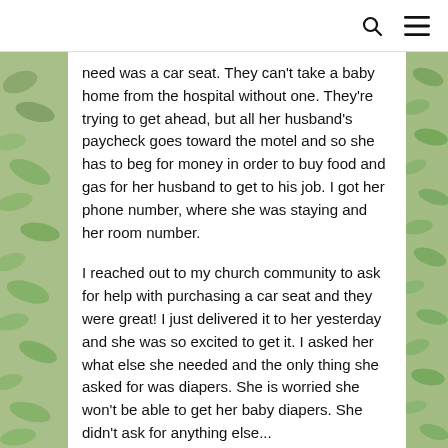search menu
need was a car seat. They can't take a baby home from the hospital without one. They're trying to get ahead, but all her husband's paycheck goes toward the motel and so she has to beg for money in order to buy food and gas for her husband to get to his job. I got her phone number, where she was staying and her room number.
I reached out to my church community to ask for help with purchasing a car seat and they were great! I just delivered it to her yesterday and she was so excited to get it. I asked her what else she needed and the only thing she asked for was diapers. She is worried she won't be able to get her baby diapers. She didn't ask for anything other than something for her...